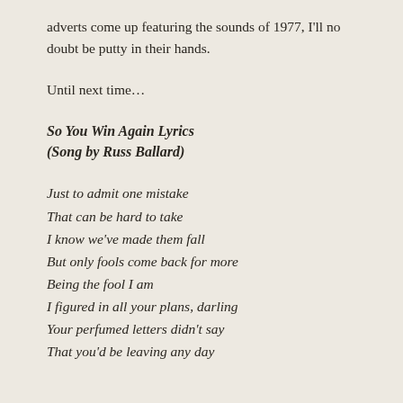adverts come up featuring the sounds of 1977, I'll no doubt be putty in their hands.
Until next time…
So You Win Again Lyrics
(Song by Russ Ballard)
Just to admit one mistake
That can be hard to take
I know we've made them fall
But only fools come back for more
Being the fool I am
I figured in all your plans, darling
Your perfumed letters didn't say
That you'd be leaving any day